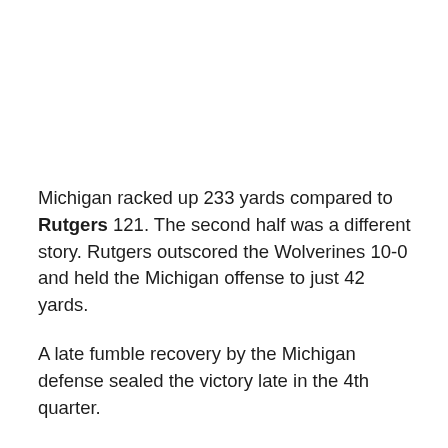Michigan racked up 233 yards compared to Rutgers 121. The second half was a different story. Rutgers outscored the Wolverines 10-0 and held the Michigan offense to just 42 yards.
A late fumble recovery by the Michigan defense sealed the victory late in the 4th quarter.
“I was really proud of them,” head coach Jim Harbaugh said. “They found a way.”